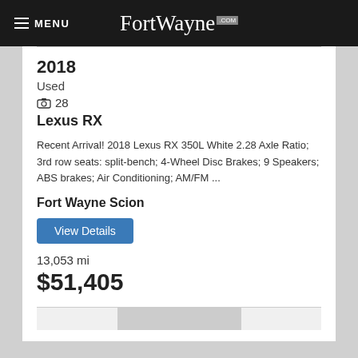MENU FortWayne.com
2018
Used
28
Lexus RX
Recent Arrival! 2018 Lexus RX 350L White 2.28 Axle Ratio; 3rd row seats: split-bench; 4-Wheel Disc Brakes; 9 Speakers; ABS brakes; Air Conditioning; AM/FM ...
Fort Wayne Scion
View Details
13,053 mi
$51,405